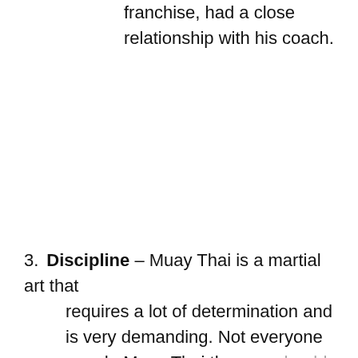franchise, had a close relationship with his coach.
3. Discipline – Muay Thai is a martial art that requires a lot of determination and is very demanding. Not everyone can do Muay Thai the way should be done and if a person does not